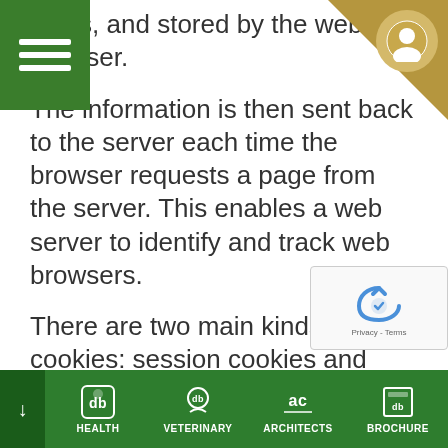[Figure (screenshot): Green hamburger menu button in top-left corner]
[Figure (illustration): Gold/tan triangular corner decoration with user profile icon in top-right corner]
Cookies are files sent by web servers browsers, and stored by the web browser. The information is then sent back to the server each time the browser requests a page from the server. This enables a web server to identify and track web browsers.
There are two main kinds of cookies: session cookies and persistent cookies. Session cookies are deleted from your computer when you close your browser, whereas persistent cookies remain stored on your computer until deleted, or until they reach their expiry date.
[Figure (screenshot): reCAPTCHA widget overlay in bottom-right area]
HEALTH   VETERINARY   ARCHITECTS   BROCHURE